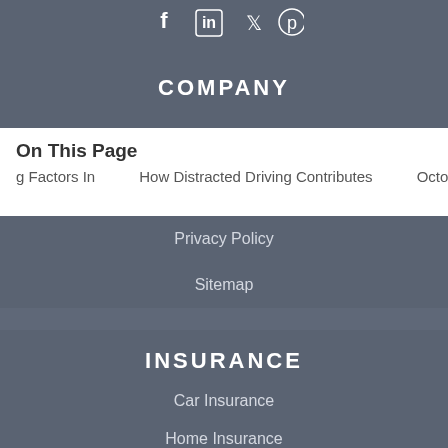[Figure (illustration): Social media icons (Facebook, LinkedIn, Twitter, Pinterest) in white on dark background]
COMPANY
On This Page
g Factors In     How Distracted Driving Contributes     Octobe
Privacy Policy
Sitemap
INSURANCE
Car Insurance
Home Insurance
Rental Insurance
Life Insurance